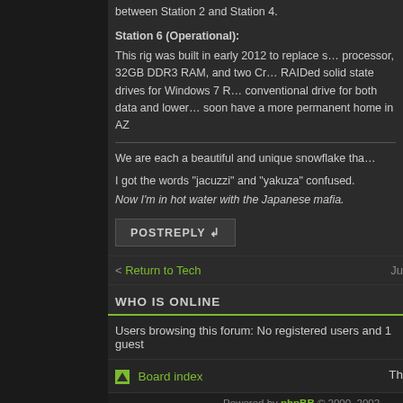between Station 2 and Station 4.
Station 6 (Operational):
This rig was built in early 2012 to replace s... processor, 32GB DDR3 RAM, and two Cr... RAIDed solid state drives for Windows 7 R... conventional drive for both data and lower... soon have a more permanent home in AZ
We are each a beautiful and unique snowflake tha...
I got the words "jacuzzi" and "yakuza" confused.
Now I'm in hot water with the Japanese mafia.
POST REPLY
< Return to Tech
WHO IS ONLINE
Users browsing this forum: No registered users and 1 guest
Board index
Powered by phpBB © 2000, 2002, ... Lucid Lime style by B...